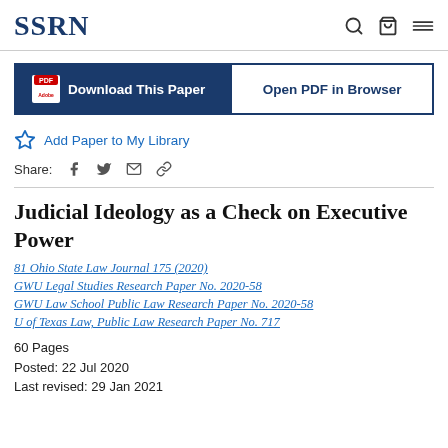SSRN
Download This Paper | Open PDF in Browser
Add Paper to My Library
Share:
Judicial Ideology as a Check on Executive Power
81 Ohio State Law Journal 175 (2020)
GWU Legal Studies Research Paper No. 2020-58
GWU Law School Public Law Research Paper No. 2020-58
U of Texas Law, Public Law Research Paper No. 717
60 Pages
Posted: 22 Jul 2020
Last revised: 29 Jan 2021